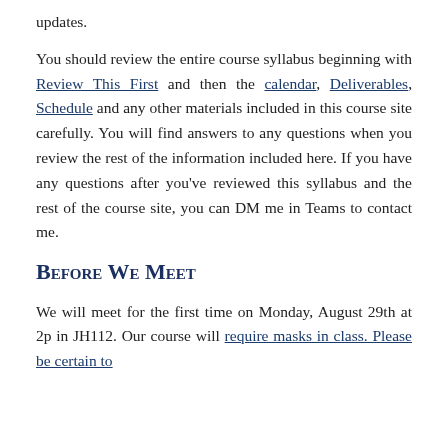updates.
You should review the entire course syllabus beginning with Review This First and then the calendar, Deliverables, Schedule and any other materials included in this course site carefully. You will find answers to any questions when you review the rest of the information included here. If you have any questions after you’ve reviewed this syllabus and the rest of the course site, you can DM me in Teams to contact me.
Before We Meet
We will meet for the first time on Monday, August 29th at 2p in JH112. Our course will require masks in class. Please be certain to